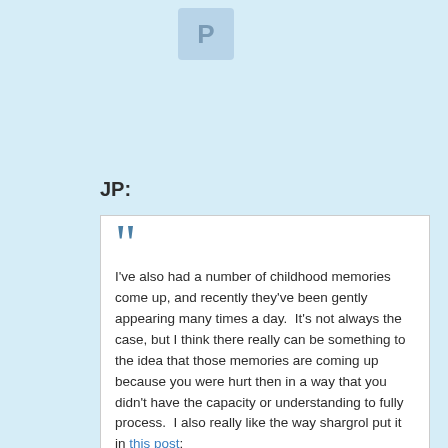[Figure (other): Avatar icon showing the letter P in a light blue rounded rectangle]
JP:
I've also had a number of childhood memories come up, and recently they've been gently appearing many times a day.  It's not always the case, but I think there really can be something to the idea that those memories are coming up because you were hurt then in a way that you didn't have the capacity or understanding to fully process.  I also really like the way shargrol put it in this post:
Ultimately, meditation will point out our very very...